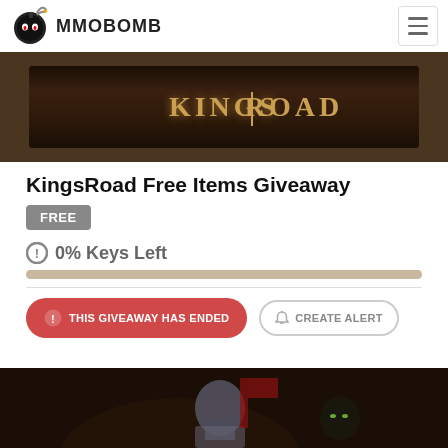MMOBOMB
[Figure (screenshot): KingsRoad game banner with golden text on dark brown background]
KingsRoad Free Items Giveaway
FREE
0% Keys Left
THIS GIVEAWAY HAS ENDED
CREATE ALERT
[Figure (photo): KingsRoad game art showing armored knight character against dark background]